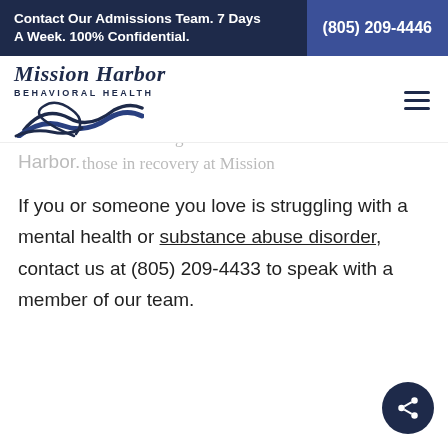Contact Our Admissions Team. 7 Days A Week. 100% Confidential. (805) 209-4446
[Figure (logo): Mission Harbor Behavioral Health logo with wave graphic and italic text]
to build a solid support system. Many along friends those in recovery at Mission Harbor.
If you or someone you love is struggling with a mental health or substance abuse disorder, contact us at (805) 209-4433 to speak with a member of our team.